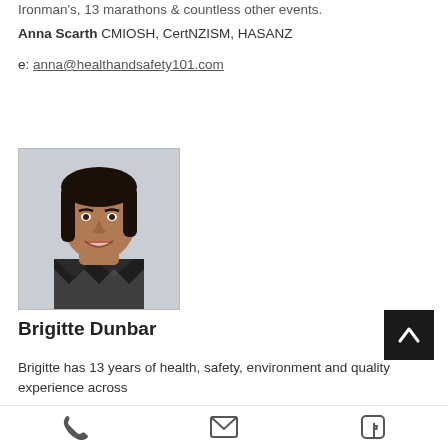Ironman's, 13 marathons & countless other events.
Anna Scarth CMIOSH, CertNZISM, HASANZ
e: anna@healthandsafety101.com
[Figure (photo): Headshot photo of Brigitte Dunbar, a woman with dark shoulder-length hair, smiling, wearing a black and white patterned top, against a light grey background.]
Brigitte Dunbar
Brigitte has 13 years of health, safety, environment and quality experience across
[Figure (other): Phone icon in footer]
[Figure (other): Email/envelope icon in footer]
[Figure (other): Facebook icon in footer]